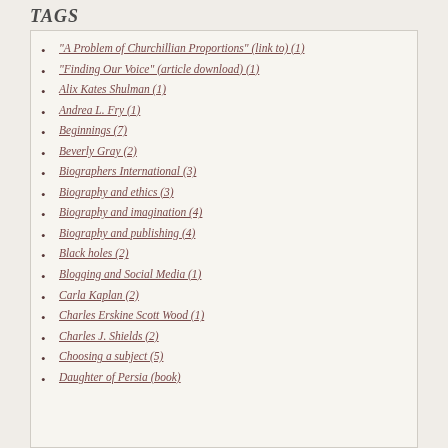TAGS
"A Problem of Churchillian Proportions" (link to) (1)
"Finding Our Voice" (article download) (1)
Alix Kates Shulman (1)
Andrea L. Fry (1)
Beginnings (7)
Beverly Gray (2)
Biographers International (3)
Biography and ethics (3)
Biography and imagination (4)
Biography and publishing (4)
Black holes (2)
Blogging and Social Media (1)
Carla Kaplan (2)
Charles Erskine Scott Wood (1)
Charles J. Shields (2)
Choosing a subject (5)
Daughter of Persia (book)